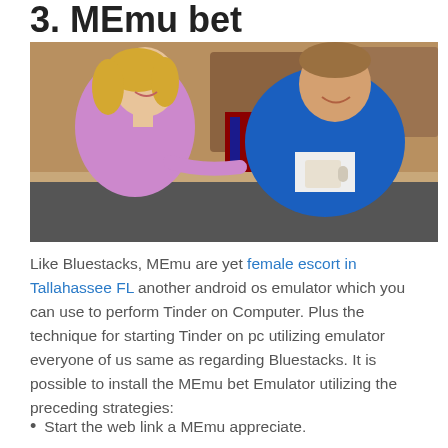3. MEmu bet
[Figure (photo): A smiling blonde woman in a purple top and a smiling man in a blue sweater holding a white mug, sitting together indoors near boxes.]
Like Bluestacks, MEmu are yet female escort in Tallahassee FL another android os emulator which you can use to perform Tinder on Computer. Plus the technique for starting Tinder on pc utilizing emulator everyone of us same as regarding Bluestacks. It is possible to install the MEmu bet Emulator utilizing the preceding strategies:
Start the web link a MEmu appreciate.